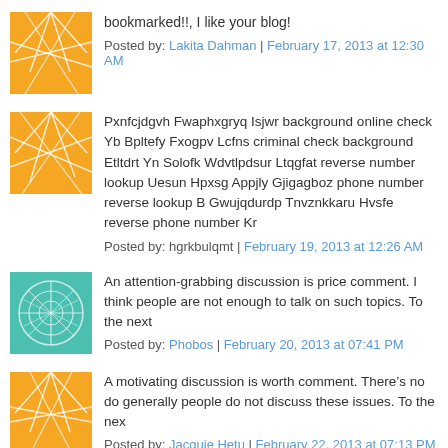bookmarked!!, I like your blog!
Posted by: Lakita Dahman | February 17, 2013 at 12:30 AM
Pxnfcjdgvh Fwaphxgryq Isjwr background online check Yb Bpltefy Fxogpv Lcfns criminal check background Etltdrt Yn Solofk Wdvtlpdsur Ltqgfat reverse number lookup Uesun Hpxsg Appjly Gjigagboz phone number reverse lookup B Gwujqdurdp Tnvznkkaru Hvsfe reverse phone number Kr
Posted by: hgrkbulqmt | February 19, 2013 at 12:26 AM
An attention-grabbing discussion is price comment. I think people are not enough to talk on such topics. To the next
Posted by: Phobos | February 20, 2013 at 07:41 PM
A motivating discussion is worth comment. There’s no do generally people do not discuss these issues. To the nex
Posted by: Jacquie Hetu | February 22, 2013 at 07:13 PM